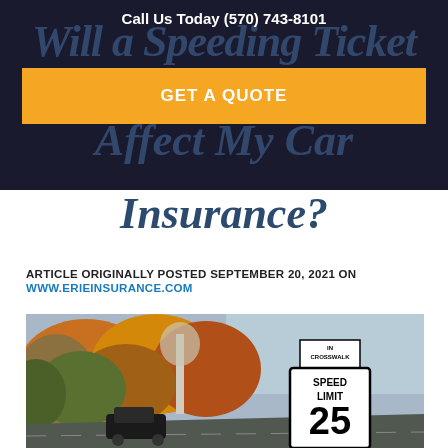Call Us Today (570) 743-8101
Will a Speeding Ticket Affect My Car Insurance?
GET A QUOTE
ARTICLE ORIGINALLY POSTED SEPTEMBER 20, 2021 ON
WWW.ERIEINSURANCE.COM
[Figure (photo): Photo of a road with autumn trees and a Speed Limit 25 sign, with a car passing by. Sign above reads IN CROSSWALK.]